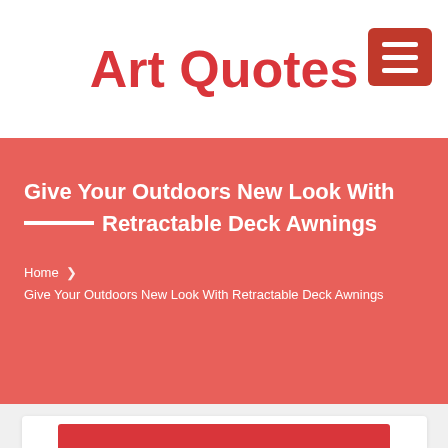Art Quotes
Give Your Outdoors New Look With ——— Retractable Deck Awnings
Home ❯ Give Your Outdoors New Look With Retractable Deck Awnings